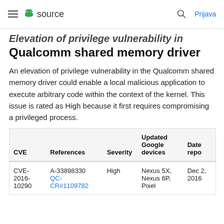≡ source  🔍  Prijava
Elevation of privilege vulnerability in Qualcomm shared memory driver
An elevation of privilege vulnerability in the Qualcomm shared memory driver could enable a local malicious application to execute arbitrary code within the context of the kernel. This issue is rated as High because it first requires compromising a privileged process.
| CVE | References | Severity | Updated Google devices | Date reported |
| --- | --- | --- | --- | --- |
| CVE-2016-10290 | A-33898330
QC-CR#1109782 | High | Nexus 5X, Nexus 6P, Pixel | Dec 2, 2016 |